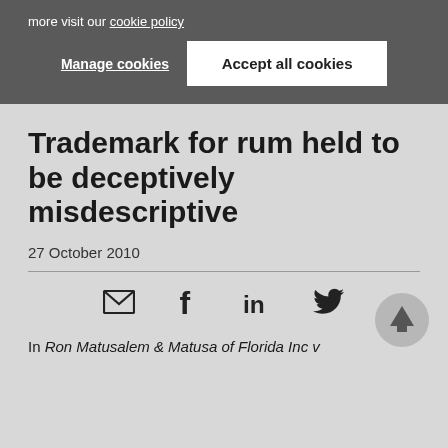more visit our cookie policy
Manage cookies
Accept all cookies
Trademark for rum held to be deceptively misdescriptive
27 October 2010
[Figure (infographic): Social sharing icons: email, Facebook, LinkedIn, Twitter]
In Ron Matusalem & Matusa of Florida Inc v